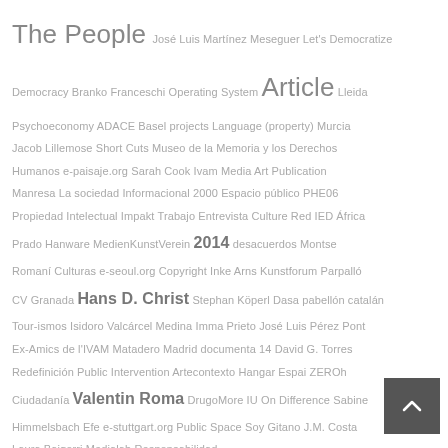The People José Luis Martínez Meseguer Let's Democratize Democracy Branko Franceschi Operating System Article Lleida Psychoeconomy ADACE Basel projects Language (property) Murcia Jacob Lillemose Short Cuts Museo de la Memoria y los Derechos Humanos e-paisaje.org Sarah Cook Ivam Media Art Publication Manresa La sociedad Informacional 2000 Espacio público PHE06 Propiedad Intelectual Impakt Trabajo Entrevista Culture Red IED África Prado Hanware MedienKunstVerein 2014 desacuerdos Montse Romaní Culturas e-seoul.org Copyright Inke Arns Kunstforum Parpalló CV Granada Hans D. Christ Stephan Köperl Dasa pabellón catalán Tour-ismos Isidoro Valcárcel Medina Imma Prieto José Luis Pérez Pont Ex-Amics de l'IVAM Matadero Madrid documenta 14 David G. Torres Redefinición Public Intervention Artecontexto Hangar Espai ZERo1 Ciudadanía Valentin Roma DrugoMore IU On Difference Sabine Himmelsbach Efe e-stuttgart.org Public Space Soy Gitano J.M. Costa Laura Baigorri Medialab Responsabilidad..